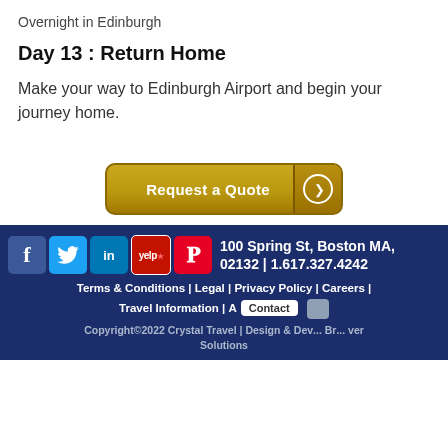Overnight in Edinburgh
Day 13 : Return Home
Make your way to Edinburgh Airport and begin your journey home.
[Figure (other): Request a Quote button with gold gradient and arrow]
100 Spring St, Boston MA, 02132 | 1.617.327.4242 | Terms & Conditions | Legal | Privacy Policy | Careers | Travel Information | A... | Copyright©2022 Crystal Travel | Design & Dev... Br... ver Solutions